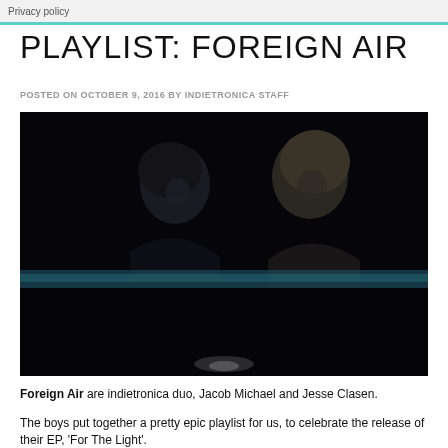Privacy policy
PLAYLIST: FOREIGN AIR
POSTED ON OCTOBER 9, 2016 BY INDIETRONICA STAFF
[Figure (photo): Dark atmospheric photo of two musicians (Jacob Michael and Jesse Clasen of Foreign Air) seated with heads bowed in a dark room with a faint blue/teal horizontal light stripe in the background and a small glow of light below.]
Foreign Air are indietronica duo, Jacob Michael and Jesse Clasen.
The boys put together a pretty epic playlist for us, to celebrate the release of their EP, 'For The Light'.